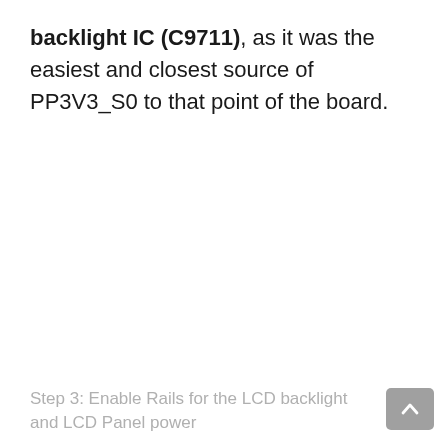backlight IC (C9711), as it was the easiest and closest source of PP3V3_S0 to that point of the board.
Step 3: Enable Rails for the LCD backlight and LCD Panel power